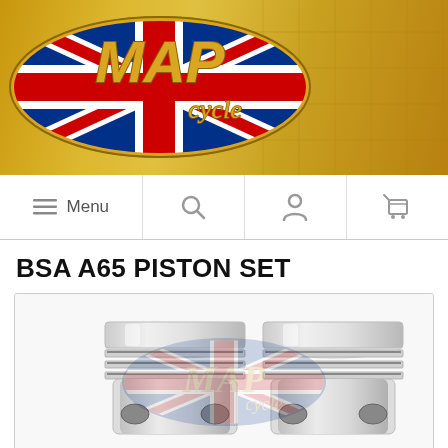[Figure (logo): MAP Cycle logo on golden banner header with Union Jack flag motif inside an oval badge]
Menu | Search | User | Cart
BSA A65 PISTON SET
[Figure (photo): Two chrome/silver BSA A65 pistons side by side with MAP Cycle watermark logo overlaid, showing ring grooves and wrist pin holes]